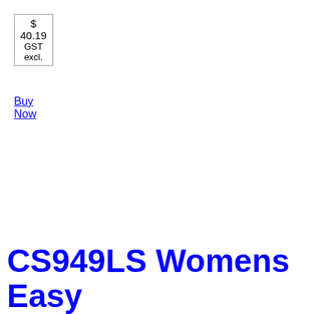$ 40.19 GST excl.
Buy Now
CS949LS Womens Easy